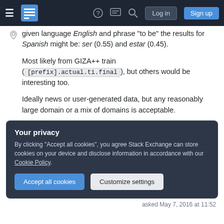Stack Exchange navigation bar with hamburger menu, logo, help, chat, search icons, Log in and Sign up buttons
given language English and phrase "to be" the results for Spanish might be: ser (0.55) and estar (0.45).
Most likely from GIZA++ train ([prefix].actual.ti.final), but others would be interesting too.
Ideally news or user-generated data, but any reasonably large domain or a mix of domains is acceptable.
Your privacy
By clicking "Accept all cookies", you agree Stack Exchange can store cookies on your device and disclose information in accordance with our Cookie Policy.
Accept all cookies   Customize settings
asked May 7, 2016 at 11:52